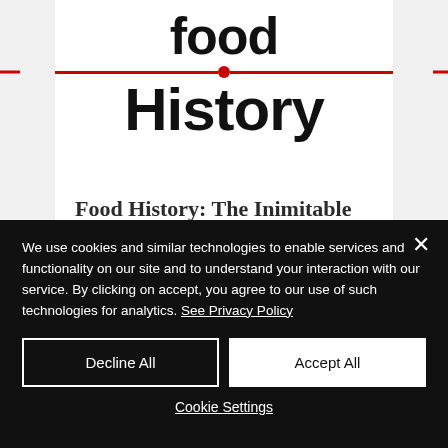[Figure (logo): Food History logo with bold 'food' text, red horizontal line with center dot, and bold 'History' text below]
Food History: The Inimitable Mrs Beeton
We use cookies and similar technologies to enable services and functionality on our site and to understand your interaction with our service. By clicking on accept, you agree to our use of such technologies for analytics. See Privacy Policy
Decline All
Accept All
Cookie Settings